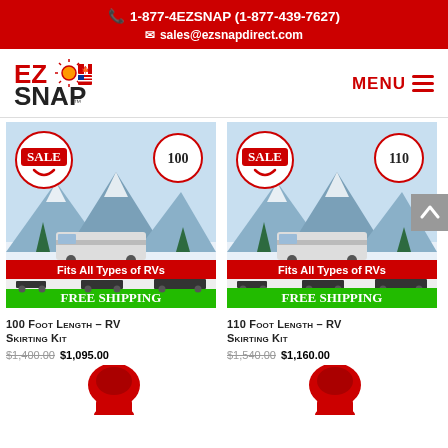1-877-4EZSNAP (1-877-439-7627) sales@ezsnapdirect.com
[Figure (logo): EZ Snap logo with sun and Canadian/US flags]
MENU
[Figure (photo): 100 Foot Length RV Skirting Kit product image showing SALE badge, 100 number badge, winter RV scene, Fits All Types of RVs banner, RV silhouettes, FREE SHIPPING green banner]
100 Foot Length – RV Skirting Kit
$1,400.00 $1,095.00
[Figure (photo): 110 Foot Length RV Skirting Kit product image showing SALE badge, 110 number badge, winter RV scene, Fits All Types of RVs banner, RV silhouettes, FREE SHIPPING green banner]
110 Foot Length – RV Skirting Kit
$1,540.00 $1,160.00
[Figure (photo): Partial view of a red product (snap fitting) at bottom left]
[Figure (photo): Partial view of a red product (snap fitting) at bottom right]